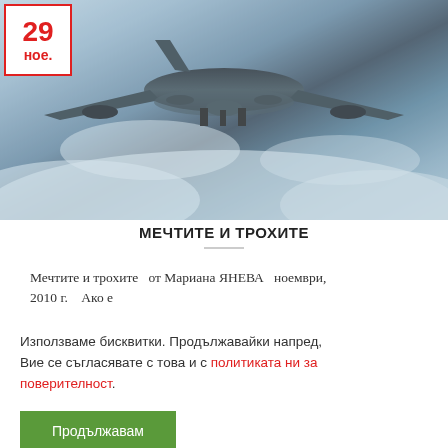[Figure (photo): Photograph of a large aircraft (viewed from below/behind) flying over clouds, with a misty blue-grey sky background. A red-bordered date badge showing '29 ное.' is overlaid in the top-left corner.]
МЕЧТИТЕ И ТРОХИТЕ
Мечтите и трохите   от Мариана ЯНЕВА   ноември, 2010 г.   Ако е
Използваме бисквитки. Продължавайки напред, Вие се съгласявате с това и с политиката ни за поверителност.